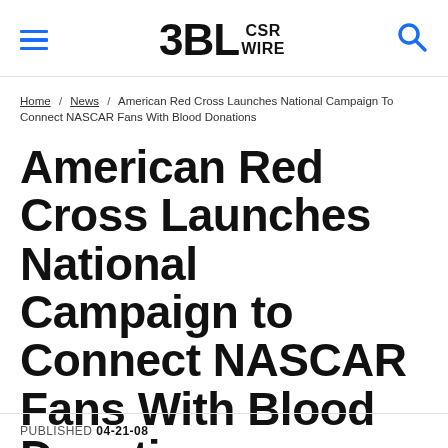3BL CSR WIRE
Home / News / American Red Cross Launches National Campaign To Connect NASCAR Fans With Blood Donations
American Red Cross Launches National Campaign to Connect NASCAR Fans With Blood Donations
PUBLISHED 04-21-08